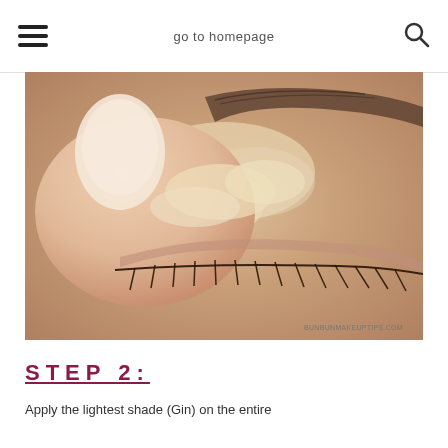go to homepage
[Figure (photo): Close-up photo of a finger applying foundation or concealer product onto a closed eyelid. The skin tone is medium, eyelashes are visible along the lower lash line. A cream-colored product is being blended over the eyelid with the thumb. Watermark reads: BUNBUNMAKEUPTIPS.COM]
STEP 2:
Apply the lightest shade (Gin) on the entire